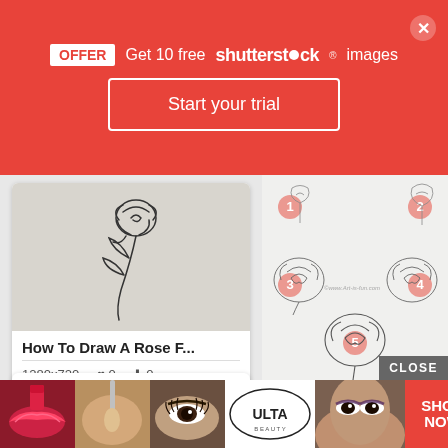[Figure (screenshot): Red Shutterstock promotional banner with OFFER label, 'Get 10 free shutterstock images', 'Start your trial' button, and a close X button]
[Figure (illustration): Card showing a simple line drawing of a rose on a stem with the title 'How To Draw A Rose F...' and metadata 1280x720, 0 hearts, 0 downloads]
[Figure (illustration): Card showing a rose drawing tutorial with 'ROSE Step by step' text in red and a pink rose illustration]
[Figure (illustration): Right side panel showing step-by-step pencil rose drawing tutorial with 5 steps numbered in pink circles, watermarked www.Art-is-fun.com]
[Figure (photo): Bottom advertisement bar showing beauty/makeup related images: lips with lipstick, makeup brush, eyes, ULTA beauty logo, woman with eye makeup, SHOP NOW button in red, and L... text item]